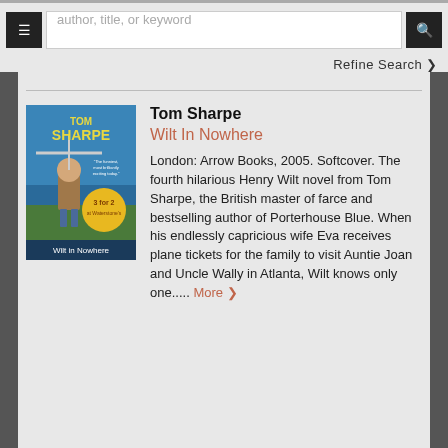[Figure (screenshot): Search bar UI with hamburger icon button, text input placeholder 'author, title, or keyword', and a search icon button on right]
Refine Search ❯
Tom Sharpe
Wilt In Nowhere
[Figure (illustration): Book cover of 'Wilt in Nowhere' by Tom Sharpe showing a cartoon character with a helicopter on their head against a blue background with a 3-for-2 promotional sticker]
London: Arrow Books, 2005. Softcover. The fourth hilarious Henry Wilt novel from Tom Sharpe, the British master of farce and bestselling author of Porterhouse Blue. When his endlessly capricious wife Eva receives plane tickets for the family to visit Auntie Joan and Uncle Wally in Atlanta, Wilt knows only one.....
More ❯